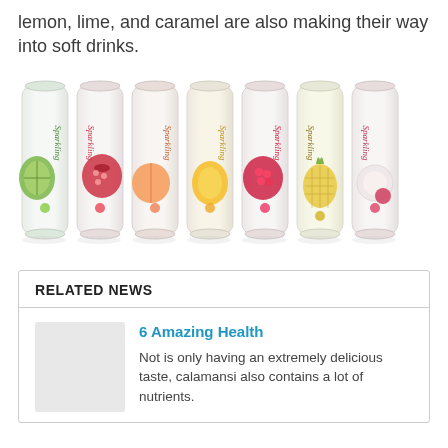lemon, lime, and caramel are also making their way into soft drinks.
[Figure (photo): Seven slim sparkling drink cans with fruit imagery (kiwi, pomegranate, peach, mango, raspberry/strawberry, pineapple, lychee) on white background, brand name 'Sparkling' visible on each can.]
RELATED NEWS
6 Amazing Health
Not is only having an extremely delicious taste, calamansi also contains a lot of nutrients.